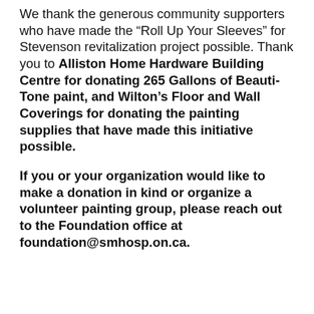We thank the generous community supporters who have made the “Roll Up Your Sleeves” for Stevenson revitalization project possible. Thank you to Alliston Home Hardware Building Centre for donating 265 Gallons of Beauti-Tone paint, and Wilton’s Floor and Wall Coverings for donating the painting supplies that have made this initiative possible.
If you or your organization would like to make a donation in kind or organize a volunteer painting group, please reach out to the Foundation office at foundation@smhosp.on.ca.